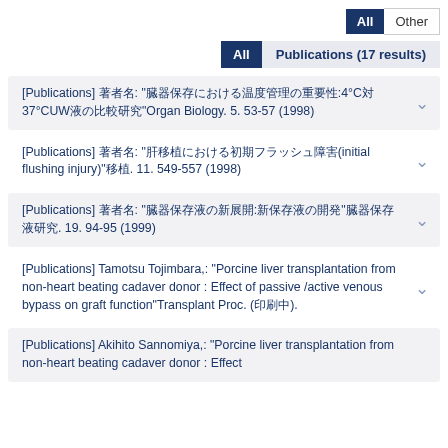All  Other
All  Publications (17 results)
[Publications] 著者名: "臓器保存における温度管理の重要性:4°C対37°CUW液の比較研究"Organ Biology. 5. 53-57 (1998)
[Publications] 著者名: "肝移植における初期フラッシュ障害(initial flushing injury)"移植. 11. 549-557 (1998)
[Publications] 著者名: "臓器保存液の新展開:新保存液の開発"臓器保存液研究. 19. 94-95 (1999)
[Publications] Tamotsu Tojimbara,: "Porcine liver transplantation from non-heart beating cadaver donor : Effect of passive /active venous bypass on graft function"Transplant Proc. (印刷中).
[Publications] Akihito Sannomiya,: "Porcine liver transplantation from non-heart beating cadaver donor : Effect